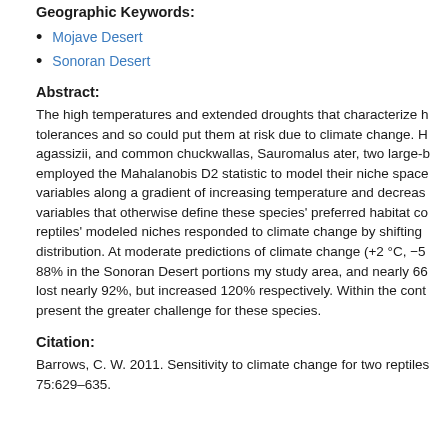Geographic Keywords:
Mojave Desert
Sonoran Desert
Abstract:
The high temperatures and extended droughts that characterize h tolerances and so could put them at risk due to climate change. H agassizii, and common chuckwallas, Sauromalus ater, two large-b employed the Mahalanobis D2 statistic to model their niche space variables along a gradient of increasing temperature and decreas variables that otherwise define these species' preferred habitat co reptiles' modeled niches responded to climate change by shifting distribution. At moderate predictions of climate change (+2 °C, −5 88% in the Sonoran Desert portions my study area, and nearly 66 lost nearly 92%, but increased 120% respectively. Within the cont present the greater challenge for these species.
Citation:
Barrows, C. W. 2011. Sensitivity to climate change for two reptiles 75:629–635.